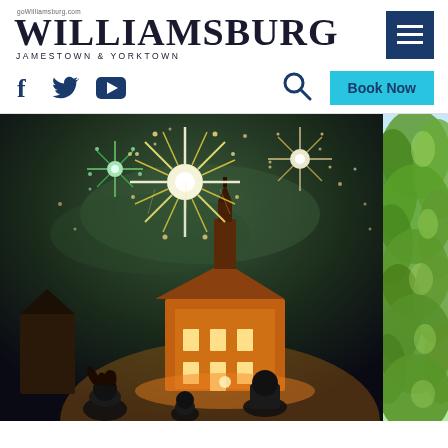[Figure (logo): Williamsburg Jamestown & Yorktown logo with goWilliamsburg.com URL]
[Figure (other): Hamburger menu button in dark navy blue]
[Figure (other): Social media icons: Facebook, Twitter, YouTube in dark navy blue]
[Figure (other): Search icon magnifying glass]
[Figure (other): Book Now button in cyan/teal color]
[Figure (photo): Family watching fireworks over illuminated colonial building at night - main hero image]
[Figure (photo): Partial view of green trees, daytime outdoor scene on right edge]